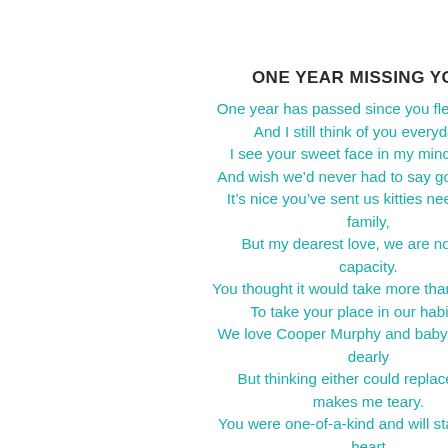ONE YEAR MISSING YOU
One year has passed since you flew away,
And I still think of you everyday.
I see your sweet face in my mind’s eye
And wish we’d never had to say good-bye.
It’s nice you’ve sent us kitties needing a family,
But my dearest love, we are now at capacity.
You thought it would take more than one cat
To take your place in our habitat.
We love Cooper Murphy and baby Sawyer dearly
But thinking either could replace you makes me teary.
You were one-of-a-kind and will stay in my heart
Until the day I join you and we’re no longer apart.
When once again I can hold you in my arms
And revel in all your love and feline
Beaded tail rece
Flynn   December
Concats on being well. I like your tw
Flynn recently p
Maxwell, Fara
Mauricio we are
Maxwell, Farad
Noodle   Decem